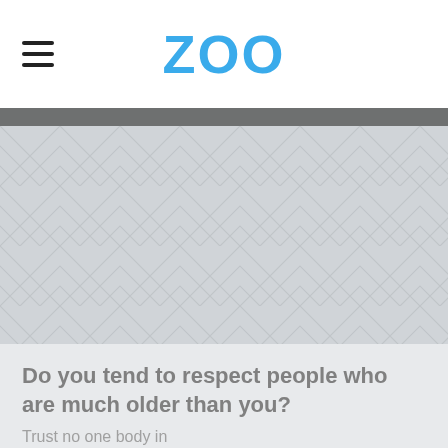ZOO
[Figure (illustration): Large placeholder image area with a light grey diagonal herringbone/chevron pattern background.]
Do you tend to respect people who are much older than you?
Trust no one body in